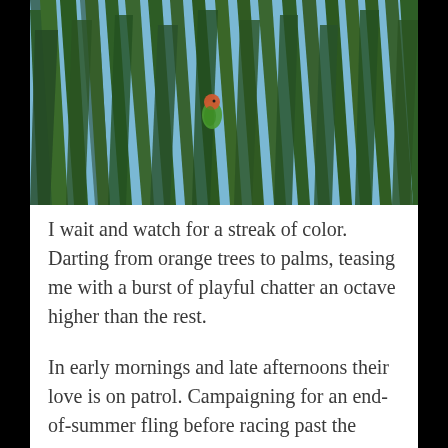[Figure (photo): Close-up photograph of palm fronds with a small colorful bird (parrot/lovebird with red-orange head and green body) partially visible among the dark green palm leaves against a blue sky background.]
I wait and watch for a streak of color. Darting from orange trees to palms, teasing me with a burst of playful chatter an octave higher than the rest.
In early mornings and late afternoons their love is on patrol. Campaigning for an end-of-summer fling before racing past the